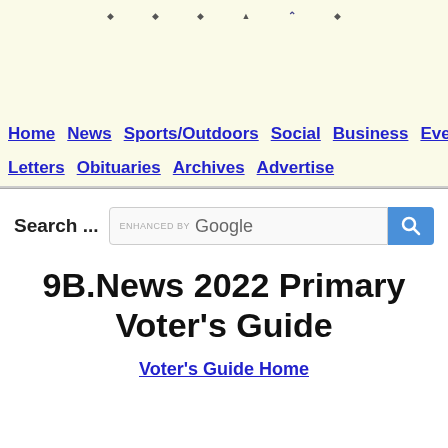[Figure (screenshot): Website header banner with light yellow background and small navigation icons at top]
Home  News  Sports/Outdoors  Social  Business  Events  Letters  Obituaries  Archives  Advertise
Search ...
[Figure (screenshot): Google enhanced search box with blue search button]
9B.News 2022 Primary Voter's Guide
Voter's Guide Home